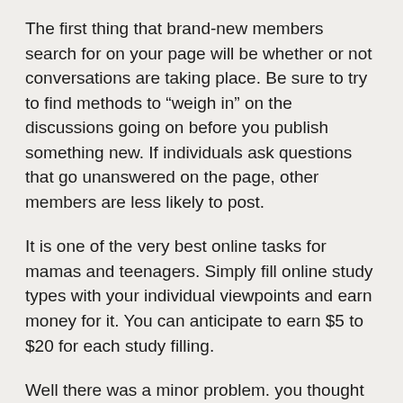The first thing that brand-new members search for on your page will be whether or not conversations are taking place. Be sure to try to find methods to “weigh in” on the discussions going on before you publish something new. If individuals ask questions that go unanswered on the page, other members are less likely to post.
It is one of the very best online tasks for mamas and teenagers. Simply fill online study types with your individual viewpoints and earn money for it. You can anticipate to earn $5 to $20 for each study filling.
Well there was a minor problem. you thought it, I remained in Africa and working in an area that supplied NO mail service whatsoever. So yeah, I was going to need to wait on a bit longer (I was set up to come home soon) because FiveFingers are determined by your foot and have to be practically specific for an appropriate fit and feel.Well as you probably guess, my partner decided she might not wait